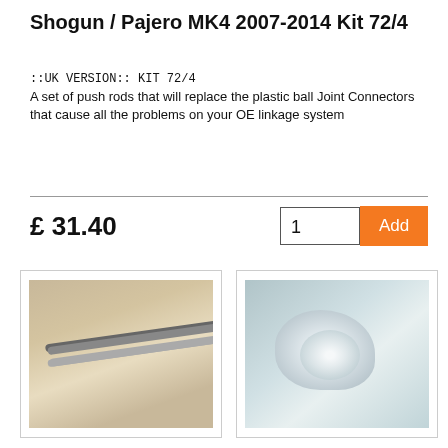Shogun / Pajero MK4 2007-2014 Kit 72/4
::UK VERSION:: KIT 72/4
A set of push rods that will replace the plastic ball Joint Connectors that cause all the problems on your OE linkage system
£ 31.40
[Figure (photo): Photo of chrome push rods/linkage set laid flat on a beige surface with a label tag visible]
[Figure (photo): Close-up photo of chrome metal push rod end connectors/ball joints on a light surface]